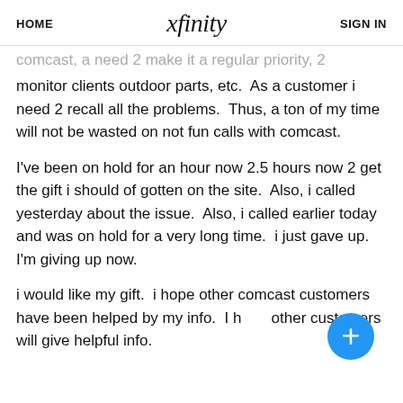HOME  xfinity  SIGN IN
comcast, a need 2 make it a regular priority, 2 monitor clients outdoor parts, etc.  As a customer i need 2 recall all the problems.  Thus, a ton of my time will not be wasted on not fun calls with comcast.
I've been on hold for an hour now 2.5 hours now 2 get the gift i should of gotten on the site.  Also, i called yesterday about the issue.  Also, i called earlier today and was on hold for a very long time.  i just gave up.  I'm giving up now.
i would like my gift.  i hope other comcast customers have been helped by my info.  I hope other customers will give helpful info.